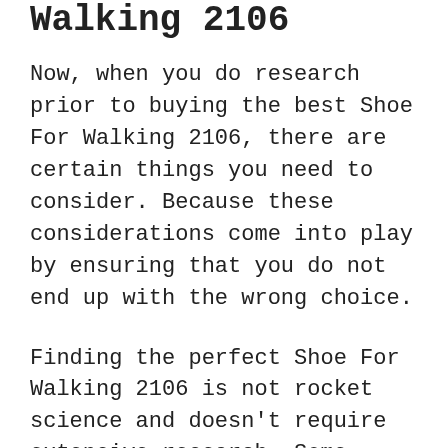Walking 2106
Now, when you do research prior to buying the best Shoe For Walking 2106, there are certain things you need to consider. Because these considerations come into play by ensuring that you do not end up with the wrong choice.
Finding the perfect Shoe For Walking 2106 is not rocket science and doesn't require extensive research. Some important features which you should look out for are described below.